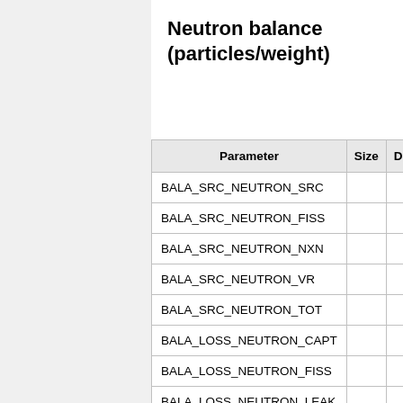Neutron balance (particles/weight)
| Parameter | Size | D |
| --- | --- | --- |
| BALA_SRC_NEUTRON_SRC |  |  |
| BALA_SRC_NEUTRON_FISS |  |  |
| BALA_SRC_NEUTRON_NXN |  |  |
| BALA_SRC_NEUTRON_VR |  |  |
| BALA_SRC_NEUTRON_TOT |  |  |
| BALA_LOSS_NEUTRON_CAPT |  |  |
| BALA_LOSS_NEUTRON_FISS |  |  |
| BALA_LOSS_NEUTRON_LEAK |  |  |
| BALA_LOSS_NEUTRON_CUT |  |  |
| BALA_LOSS_NEUTRON_ERR |  |  |
| BALA_LOSS_NEUTRON_TOT |  |  |
| BALA_NEUTRON_DIFF |  |  |